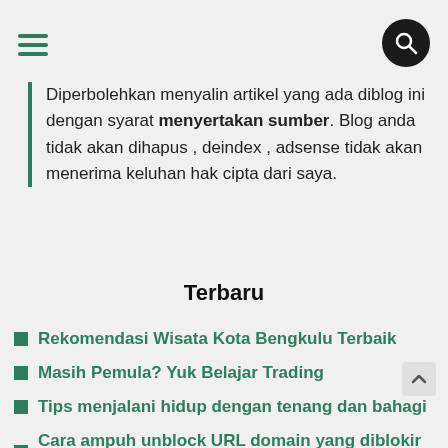Navigation menu and search
Diperbolehkan menyalin artikel yang ada diblog ini dengan syarat menyertakan sumber. Blog anda tidak akan dihapus , deindex , adsense tidak akan menerima keluhan hak cipta dari saya.
Terbaru
Rekomendasi Wisata Kota Bengkulu Terbaik
Masih Pemula? Yuk Belajar Trading
Tips menjalani hidup dengan tenang dan bahagi
Cara ampuh unblock URL domain yang diblokir facebook